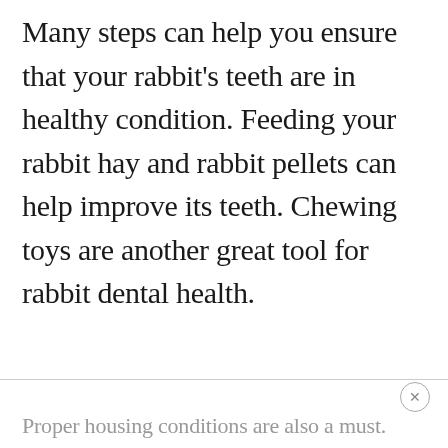Many steps can help you ensure that your rabbit's teeth are in healthy condition. Feeding your rabbit hay and rabbit pellets can help improve its teeth. Chewing toys are another great tool for rabbit dental health.
Proper housing conditions are also a must.